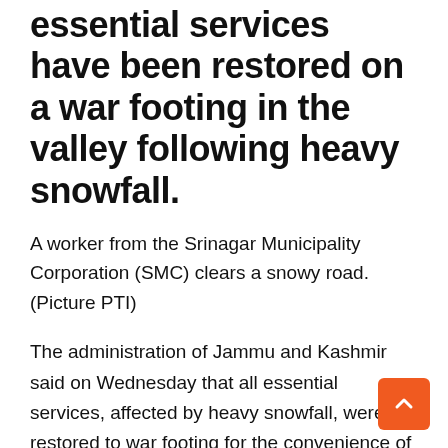essential services have been restored on a war footing in the valley following heavy snowfall.
A worker from the Srinagar Municipality Corporation (SMC) clears a snowy road. (Picture PTI)
The administration of Jammu and Kashmir said on Wednesday that all essential services, affected by heavy snowfall, were restored to war footing for the convenience of the general public.
The plains of southern Kashmir received two to three feet of snowfall, while central Kashmir received one to 1.5 feet of snow and northern Kashmir six inches to one foot. In addition, hilly